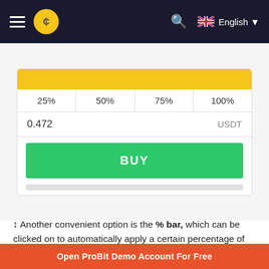ProBit Exchange navigation bar with logo and English language selector
[Figure (screenshot): Trading UI screenshot showing a yellow input bar, a percentage selector row with 25%, 50%, 75%, 100%, an amount field showing 0.472 USDT, and a green BUY button]
↕ Another convenient option is the % bar, which can be clicked on to automatically apply a certain percentage of your holdings towards a transaction. In this example, clicking 25% would purchase PROB equal to 25% of your total BTC holdings.
Open ProBit Demo Account For Free